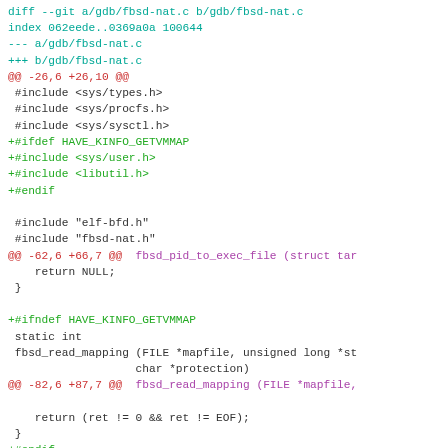diff --git a/gdb/fbsd-nat.c b/gdb/fbsd-nat.c
index 062eede..0369a0a 100644
--- a/gdb/fbsd-nat.c
+++ b/gdb/fbsd-nat.c
@@ -26,6 +26,10 @@
 #include <sys/types.h>
 #include <sys/procfs.h>
 #include <sys/sysctl.h>
+#ifdef HAVE_KINFO_GETVMMAP
+#include <sys/user.h>
+#include <libutil.h>
+#endif

 #include "elf-bfd.h"
 #include "fbsd-nat.h"
@@ -62,6 +66,7 @@  fbsd_pid_to_exec_file (struct tar
    return NULL;
 }

+#ifndef HAVE_KINFO_GETVMMAP
 static int
 fbsd_read_mapping (FILE *mapfile, unsigned long *st
                   char *protection)
@@ -82,6 +87,7 @@  fbsd_read_mapping (FILE *mapfile,

    return (ret != 0 && ret != EOF);
 }
+#endif

 /* Iterate over all the memory regions in the curre
    calling FUNC for each memory region.  OBFD is pa
@@ -91,6 +97,55 @@  int